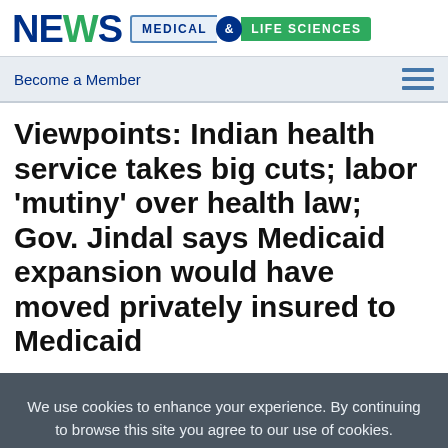NEWS MEDICAL & LIFE SCIENCES
Become a Member
Viewpoints: Indian health service takes big cuts; labor 'mutiny' over health law; Gov. Jindal says Medicaid expansion would have moved privately insured to Medicaid
We use cookies to enhance your experience. By continuing to browse this site you agree to our use of cookies. More info. Accept Cookie Settings